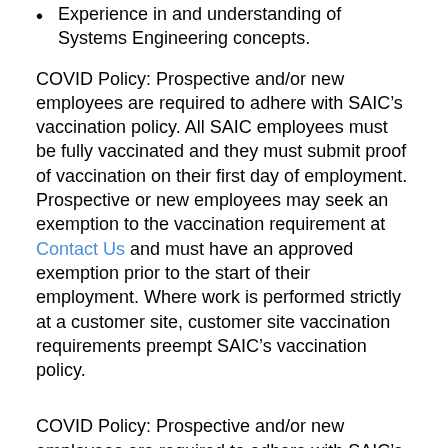Experience in and understanding of Systems Engineering concepts.
COVID Policy: Prospective and/or new employees are required to adhere with SAIC’s vaccination policy. All SAIC employees must be fully vaccinated and they must submit proof of vaccination on their first day of employment. Prospective or new employees may seek an exemption to the vaccination requirement at Contact Us and must have an approved exemption prior to the start of their employment. Where work is performed strictly at a customer site, customer site vaccination requirements preempt SAIC’s vaccination policy.
COVID Policy: Prospective and/or new employees are required to adhere with SAIC’s vaccination policy. All SAIC employees must be fully vaccinated and they must submit proof of vaccination on their first day of employment. Prospective or new employees may seek an exemption to the vaccination requirement at Contact Us and must have an approved exemption prior to the start of their employment. Where work is performed strictly at a